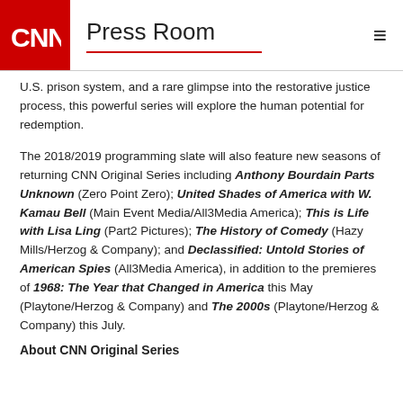CNN Press Room
U.S. prison system, and a rare glimpse into the restorative justice process, this powerful series will explore the human potential for redemption.
The 2018/2019 programming slate will also feature new seasons of returning CNN Original Series including Anthony Bourdain Parts Unknown (Zero Point Zero); United Shades of America with W. Kamau Bell (Main Event Media/All3Media America); This is Life with Lisa Ling (Part2 Pictures); The History of Comedy (Hazy Mills/Herzog & Company); and Declassified: Untold Stories of American Spies (All3Media America), in addition to the premieres of 1968: The Year that Changed in America this May (Playtone/Herzog & Company) and The 2000s (Playtone/Herzog & Company) this July.
About CNN Original Series